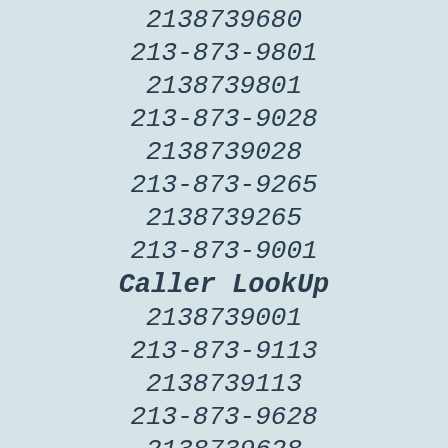2138739680
213-873-9801
2138739801
213-873-9028
2138739028
213-873-9265
2138739265
213-873-9001
Caller LookUp
2138739001
213-873-9113
2138739113
213-873-9628
2138739628
213-873-9800
2138739800